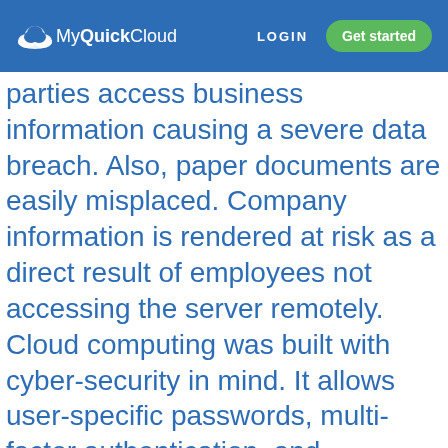MyQuickCloud  LOGIN  Get started
parties access business information causing a severe data breach. Also, paper documents are easily misplaced. Company information is rendered at risk as a direct result of employees not accessing the server remotely.

Cloud computing was built with cyber-security in mind. It allows user-specific passwords, multi-factor authentication, and